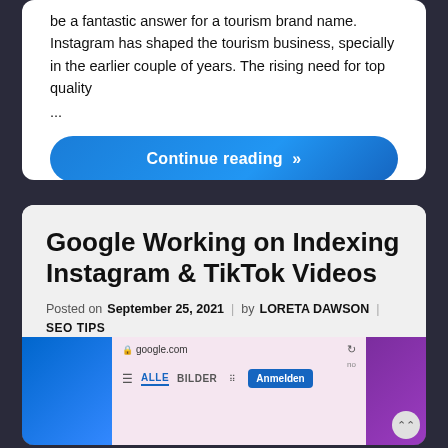be a fantastic answer for a tourism brand name. Instagram has shaped the tourism business, specially in the earlier couple of years. The rising need for top quality ...
Continue reading »
Google Working on Indexing Instagram & TikTok Videos
Posted on September 25, 2021  |  by LORETA DAWSON  |  SEO TIPS
[Figure (screenshot): Screenshot of a smartphone showing Google.com in a browser with navigation tabs ALLE and BILDER, a grid icon, and an Anmelden button]